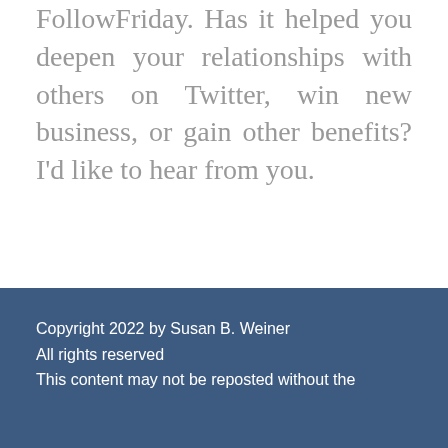FollowFriday. Has it helped you deepen your relationships with others on Twitter, win new business, or gain other benefits? I'd like to hear from you.
Copyright 2022 by Susan B. Weiner
All rights reserved
This content may not be reposted without the